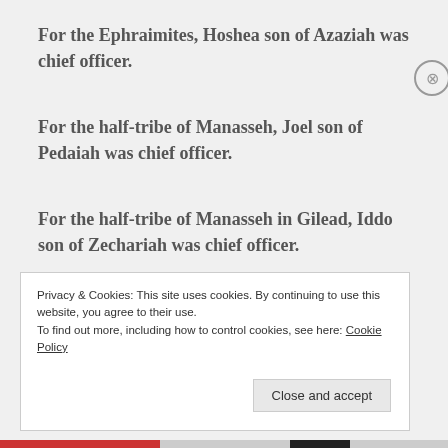For the Ephraimites, Hoshea son of Azaziah was chief officer.
For the half-tribe of Manasseh, Joel son of Pedaiah was chief officer.
For the half-tribe of Manasseh in Gilead, Iddo son of Zechariah was chief officer.
Privacy & Cookies: This site uses cookies. By continuing to use this website, you agree to their use.
To find out more, including how to control cookies, see here: Cookie Policy
Close and accept